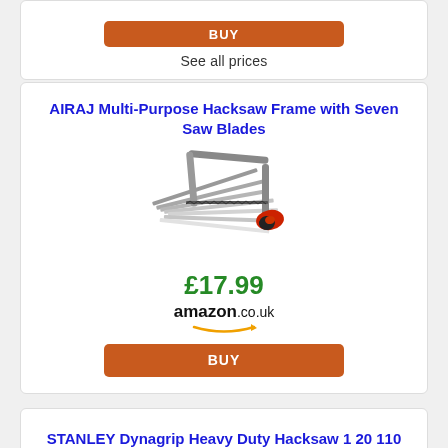[Figure (screenshot): Orange BUY button partially visible at top of card]
See all prices
AIRAJ Multi-Purpose Hacksaw Frame with Seven Saw Blades
[Figure (photo): Hacksaw with red/black handle and multiple saw blades fanned out]
£17.99
[Figure (logo): amazon.co.uk logo with orange arrow underline]
BUY
STANLEY Dynagrip Heavy Duty Hacksaw 1 20 110